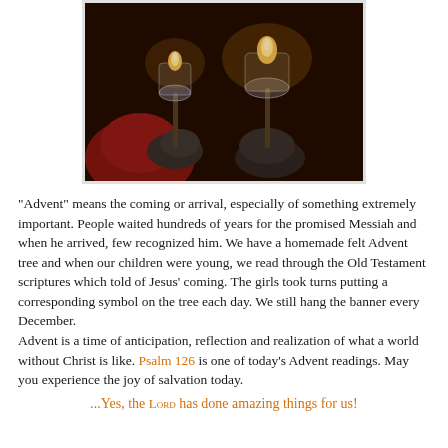[Figure (photo): Two hands holding candles in glass cups with flames glowing against a dark background]
"Advent" means the coming or arrival, especially of something extremely important. People waited hundreds of years for the promised Messiah and when he arrived, few recognized him. We have a homemade felt Advent tree and when our children were young, we read through the Old Testament scriptures which told of Jesus' coming. The girls took turns putting a corresponding symbol on the tree each day. We still hang the banner every December.
Advent is a time of anticipation, reflection and realization of what a world without Christ is like. Psalm 126 is one of today's Advent readings. May you experience the joy of salvation today.
...Yes, the Lord has done amazing things for us!